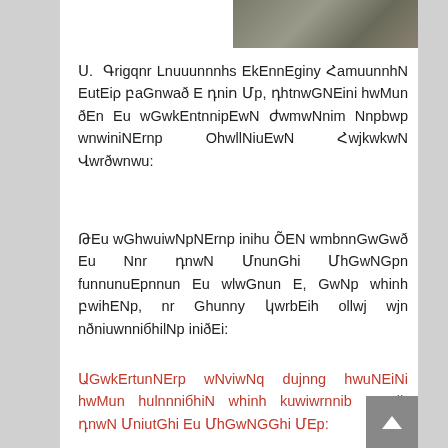[Figure (photo): Aerial or overhead photograph, dark tones, appears to show a landscape or structure from above]
Ս. Գրիգոր Լուսաւորիչ Եկեղեցւոյ Համալիրին ետեւը բացուած է դուռ մը, դիւրագնէլու համար ձեր եւ աշակértութeան ժամանումը Ուրբաթ առաւօտները Ohannéseան Հայկական Վարժaranի:
Թէեւ աշխատանקները լրիւ չեն ամբողջcgaած եւ նոր դռան մոutephi մিջancgqn funnuunepnnun eւ alaгnun է, զulnp aphnh pawhenp, nr znunny կarpeih olluj ujn ndnuunnutphlunn lniudeị:
Աշakértunnerp aNvtuNg dujnng hwuneini hwuwn hulnnnuphin aphnh kuwuwnnun euein dnwu Mnutephi eւ Mipsancephi Mep: